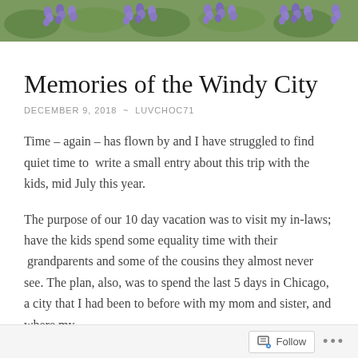[Figure (photo): A photo banner of purple/blue flowers (grape hyacinth) with green foliage visible at the top of the page.]
Memories of the Windy City
DECEMBER 9, 2018  ~  LUVCHOC71
Time – again – has flown by and I have struggled to find quiet time to  write a small entry about this trip with the kids, mid July this year.
The purpose of our 10 day vacation was to visit my in-laws; have the kids spend some equality time with their  grandparents and some of the cousins they almost never see. The plan, also, was to spend the last 5 days in Chicago, a city that I had been to before with my mom and sister, and where my
Follow  ...